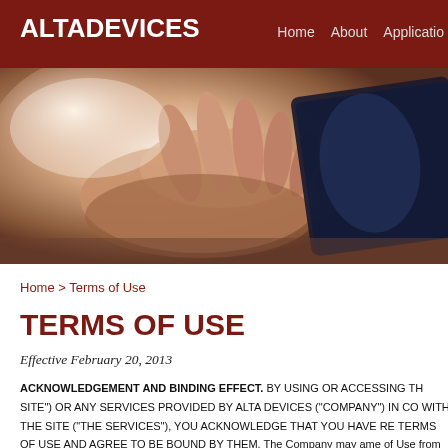ALTA DEVICES  Home  About  Applications
[Figure (photo): Close-up photograph of a hand holding a dark solar panel or electronic device, with blurred background lighting]
Home > Terms of Use
TERMS OF USE
Effective February 20, 2013
ACKNOWLEDGEMENT AND BINDING EFFECT. BY USING OR ACCESSING THE SITE") OR ANY SERVICES PROVIDED BY ALTA DEVICES ("COMPANY") IN CON WITH THE SITE ("THE SERVICES"), YOU ACKNOWLEDGE THAT YOU HAVE RE TERMS OF USE AND AGREE TO BE BOUND BY THEM. The Company may ame of Use from time to time in its sole discretion. It is your responsibility to review these periodically, and if at any time you find these Terms of Use unacceptable, you must leave the Site and cease all use of the Service and the Site.